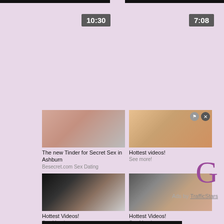[Figure (screenshot): Video thumbnail with time overlay showing 10:30]
[Figure (screenshot): Video thumbnail with time overlay showing 7:08]
[Figure (advertisement): Ad image 1 - adult content advertisement]
The new Tinder for Secret Sex in Ashburn
Besecret.com Sex Dating
[Figure (advertisement): Ad image 2 - adult content advertisement]
Hottest videos!
See more!
[Figure (advertisement): Ad image 3 - adult content advertisement]
Hottest Videos!
See More!
[Figure (advertisement): Ad image 4 - adult content advertisement]
Hottest Videos!
See More!
Ads by TrafficStars